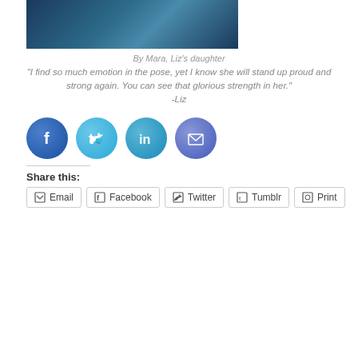[Figure (photo): Dark blue/teal toned photograph, partially visible at top of page]
By Mara, Liz's daughter
"I find so much emotion in the pose, yet I know she will stand up proud and strong again. You can see that glorious strength in her."
-Liz
[Figure (infographic): Four social media sharing icon circles: Facebook (dark blue), Twitter (light blue), LinkedIn (teal), Email (purple/blue)]
Share this:
Email  Facebook  Twitter  Tumblr  Print